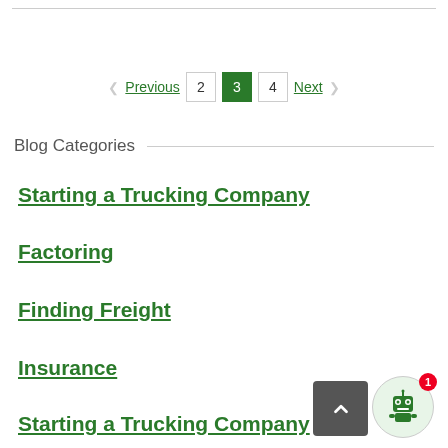< Previous  2  3  4  Next >
Blog Categories
Starting a Trucking Company
Factoring
Finding Freight
Insurance
Starting a Trucking Company
Technology